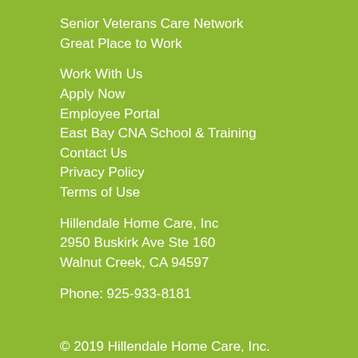Senior Veterans Care Network
Great Place to Work
Work With Us
Apply Now
Employee Portal
East Bay CNA School & Training
Contact Us
Privacy Policy
Terms of Use
Hillendale Home Care, Inc
2950 Buskirk Ave Ste 160
Walnut Creek, CA 94597
Phone: 925-933-8181
© 2019 Hillendale Home Care, Inc.
HCO License #074700001